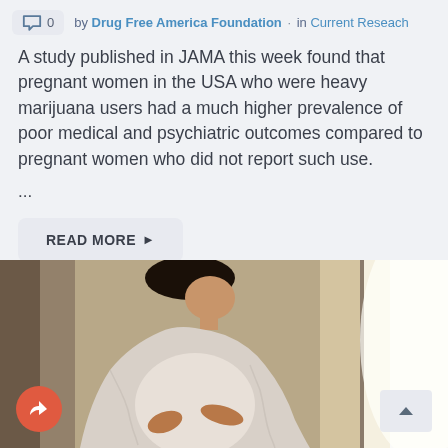by Drug Free America Foundation · in Current Reseach
A study published in JAMA this week found that pregnant women in the USA who were heavy marijuana users had a much higher prevalence of poor medical and psychiatric outcomes compared to pregnant women who did not report such use.
...
READ MORE ▶
[Figure (photo): Pregnant woman in white lace dress standing near a bright window, photographed from the side, holding her belly, with soft backlit lighting]